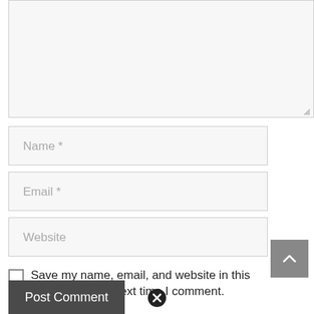[Figure (screenshot): Text area input box with close (X) icon at top center and resize handle at bottom right]
Name *
Email *
Website
Save my name, email, and website in this browser for the next time I comment.
Post Comment
[Figure (screenshot): Close (X) circle icon at bottom center]